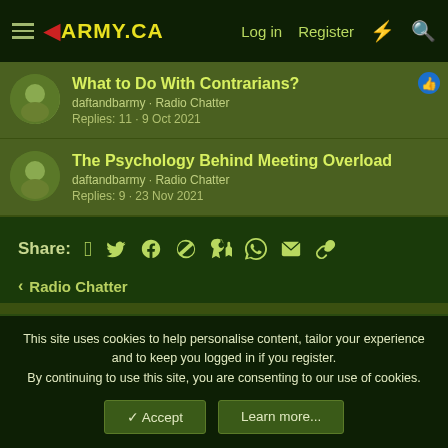ARMY.CA — Log in · Register
What to Do With Contrarians?
daftandbarmy · Radio Chatter
Replies: 11 · 9 Oct 2021
The Psychology Behind Meeting Overload
daftandbarmy · Radio Chatter
Replies: 9 · 23 Nov 2021
Share:
< Radio Chatter
This site uses cookies to help personalise content, tailor your experience and to keep you logged in if you register.
By continuing to use this site, you are consenting to our use of cookies.
✓ Accept    Learn more...